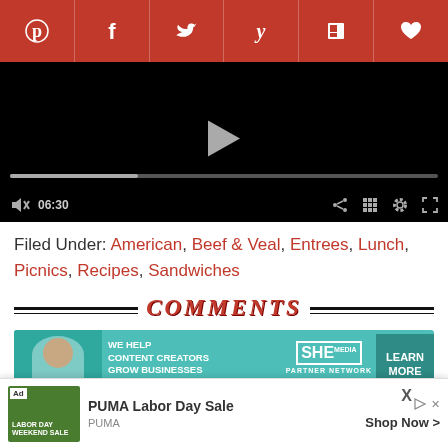[Figure (screenshot): Social share bar with Pinterest, Facebook, Twitter, Yummly, Flipboard, and heart/save icons on a red background]
[Figure (screenshot): Video player showing a black screen with a play button and progress bar at 06:30]
Filed Under: American, Beef & Veal, Entrees, Lunch, Picnics, Recipes, Sandwiches
COMMENTS
[Figure (screenshot): SHE Media Partner Network advertisement banner: 'We help content creators grow businesses through...' with a Learn More button]
Helene
[Figure (screenshot): Bottom ad overlay: PUMA Labor Day Sale advertisement with Shop Now button and close X]